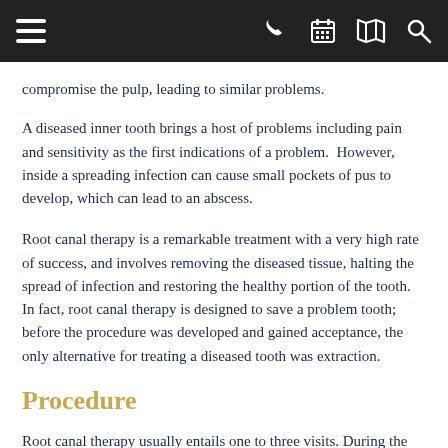Navigation bar with menu, phone, calendar, map, and search icons
compromise the pulp, leading to similar problems.
A diseased inner tooth brings a host of problems including pain and sensitivity as the first indications of a problem.  However, inside a spreading infection can cause small pockets of pus to develop, which can lead to an abscess.
Root canal therapy is a remarkable treatment with a very high rate of success, and involves removing the diseased tissue, halting the spread of infection and restoring the healthy portion of the tooth. In fact, root canal therapy is designed to save a problem tooth; before the procedure was developed and gained acceptance, the only alternative for treating a diseased tooth was extraction.
Procedure
Root canal therapy usually entails one to three visits. During the first visit, a small hole is drilled through the top of the tooth and into the inner chamber. Diseased tissue is removed, the inner chamber cleansed and disinfected, and the tiny canals reshaped. The